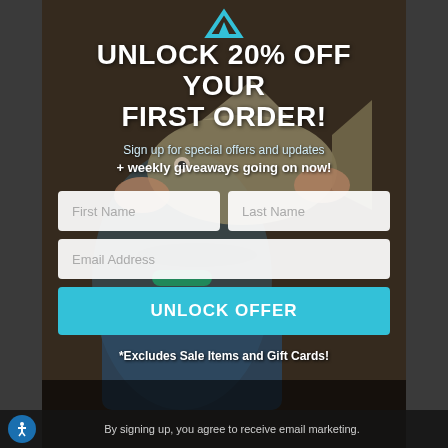[Figure (photo): Background photo of a fisherman holding a large bass fish, wearing sunglasses and a fishing jersey]
[Figure (logo): Brand logo at the top center, teal/blue chevron or fish icon]
UNLOCK 20% OFF YOUR FIRST ORDER!
Sign up for special offers and updates + weekly giveaways going on now!
First Name
Last Name
Email Address
UNLOCK OFFER
*Excludes Sale Items and Gift Cards!
By signing up, you agree to receive email marketing.